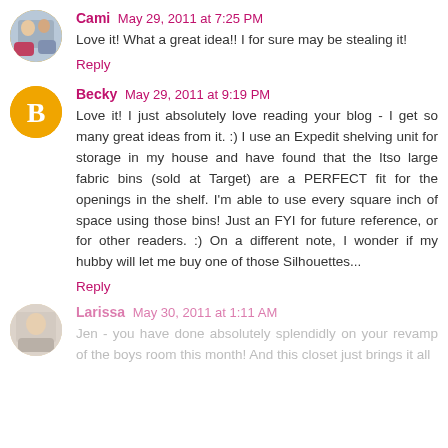Cami May 29, 2011 at 7:25 PM
Love it! What a great idea!! I for sure may be stealing it!
Reply
Becky May 29, 2011 at 9:19 PM
Love it! I just absolutely love reading your blog - I get so many great ideas from it. :) I use an Expedit shelving unit for storage in my house and have found that the Itso large fabric bins (sold at Target) are a PERFECT fit for the openings in the shelf. I'm able to use every square inch of space using those bins! Just an FYI for future reference, or for other readers. :) On a different note, I wonder if my hubby will let me buy one of those Silhouettes...
Reply
Larissa May 30, 2011 at 1:11 AM
Jen - you have done absolutely splendidly on your revamp of the boys room this month! And this closet just brings it all